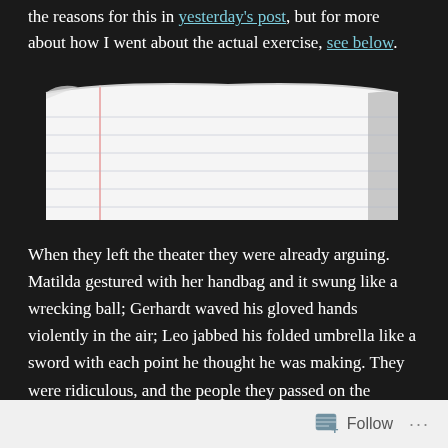the reasons for this in yesterday's post, but for more about how I went about the actual exercise, see below.
[Figure (photo): A photograph of open lined notebook pages with a red margin line, shot on a dark background, pages slightly curved at the top.]
When they left the theater they were already arguing. Matilda gestured with her handbag and it swung like a wrecking ball; Gerhardt waved his gloved hands violently in the air; Leo jabbed his folded umbrella like a sword with each point he thought he was making. They were ridiculous, and the people they passed on the sidewalk parted around them and glared or shook their heads before closing again on the other side, but the trio argued loudly anyway, oblivious.
Follow ···